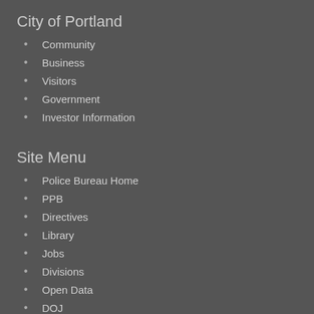City of Portland
Community
Business
Visitors
Government
Investor Information
Site Menu
Police Bureau Home
PPB
Directives
Library
Jobs
Divisions
Open Data
DOJ
News